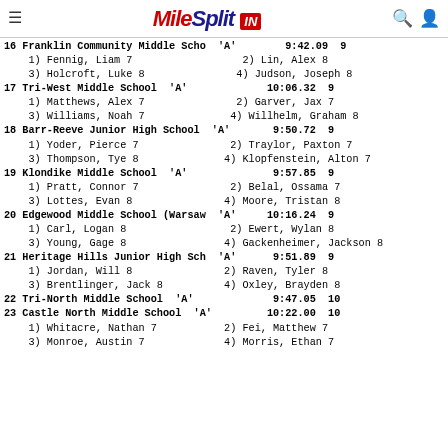MileSplit IN
16 Franklin Community Middle Scho  'A'        9:42.09  9
    1) Fennig, Liam 7                  2) Lin, Alex 8
    3) Holcroft, Luke 8               4) Judson, Joseph 8
17 Tri-West Middle School  'A'              10:06.32  9
    1) Matthews, Alex 7               2) Garver, Jax 7
    3) Williams, Noah 7              4) Willhelm, Graham 8
18 Barr-Reeve Junior High School  'A'       9:50.72  9
    1) Yoder, Pierce 7               2) Traylor, Paxton 7
    3) Thompson, Tye 8              4) Klopfenstein, Alton 7
19 Klondike Middle School  'A'              9:57.85  9
    1) Pratt, Connor 7               2) Belal, Ossama 7
    3) Lottes, Evan 8               4) Moore, Tristan 8
20 Edgewood Middle School (Warsaw  'A'     10:16.24  9
    1) Carl, Logan 8                 2) Ewert, Wylan 8
    3) Young, Gage 8                4) Gackenheimer, Jackson 8
21 Heritage Hills Junior High Sch  'A'      9:51.89  9
    1) Jordan, Will 8               2) Raven, Tyler 8
    3) Brentlinger, Jack 8          4) Oxley, Brayden 8
22 Tri-North Middle School  'A'             9:47.05  10
23 Castle North Middle School  'A'         10:22.00  10
    1) Whitacre, Nathan 7           2) Fei, Matthew 7
    3) Monroe, Austin 7             4) Morris, Ethan 7